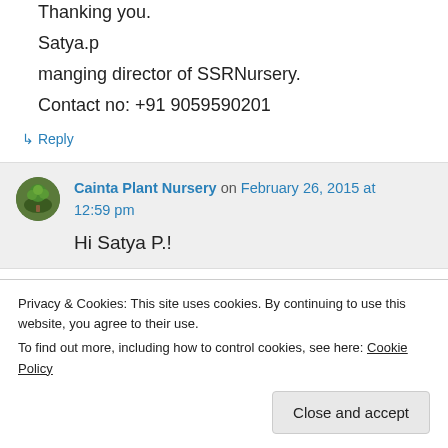Thanking you.
Satya.p
manging director of SSRNursery.
Contact no: +91 9059590201
↳ Reply
Cainta Plant Nursery on February 26, 2015 at 12:59 pm
Hi Satya P.!
Privacy & Cookies: This site uses cookies. By continuing to use this website, you agree to their use. To find out more, including how to control cookies, see here: Cookie Policy
Close and accept